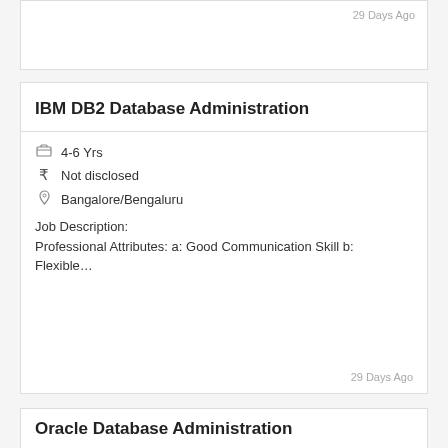29 Days Ago
IBM DB2 Database Administration
4-6 Yrs
₹ Not disclosed
Bangalore/Bengaluru
Job Description:
Professional Attributes: a: Good Communication Skill b: Flexible…
29 Days Ago
Oracle Database Administration